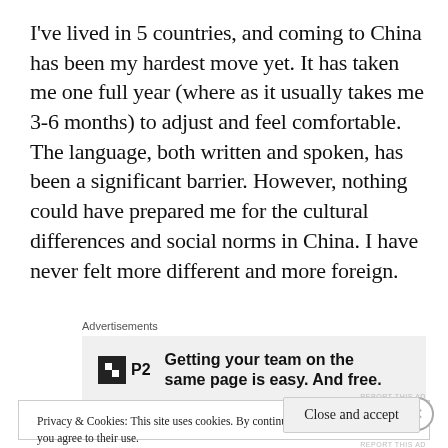I've lived in 5 countries, and coming to China has been my hardest move yet. It has taken me one full year (where as it usually takes me 3-6 months) to adjust and feel comfortable. The language, both written and spoken, has been a significant barrier. However, nothing could have prepared me for the cultural differences and social norms in China. I have never felt more different and more foreign.
Advertisements
[Figure (other): Advertisement banner for P2 product with logo and text: Getting your team on the same page is easy. And free.]
Privacy & Cookies: This site uses cookies. By continuing to use this website, you agree to their use.
To find out more, including how to control cookies, see here: Cookie Policy
Close and accept